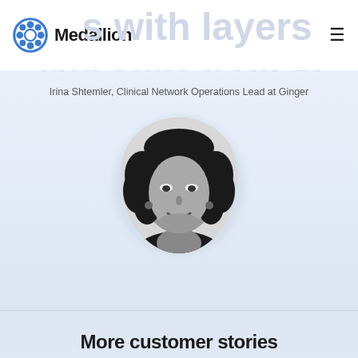Medallion
Irina Shtemler, Clinical Network Operations Lead at Ginger
[Figure (photo): Black and white portrait photo of Irina Shtemler in a blob/organic shape frame, woman with curly hair smiling]
More customer stories